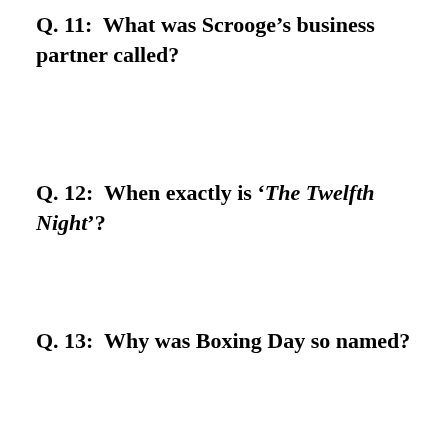Q. 11:  What was Scrooge's business partner called?
Q. 12:  When exactly is 'The Twelfth Night'?
Q. 13:  Why was Boxing Day so named?